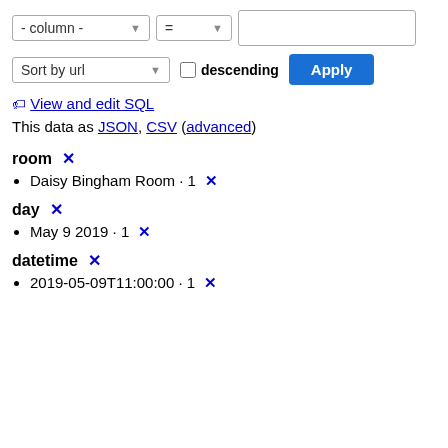- column - = [input] Sort by url descending Apply
View and edit SQL
This data as JSON, CSV (advanced)
room ✕
Daisy Bingham Room · 1 ✕
day ✕
May 9 2019 · 1 ✕
datetime ✕
2019-05-09T11:00:00 · 1 ✕